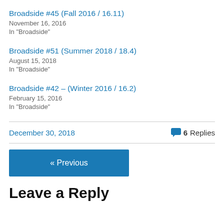Broadside #45 (Fall 2016 / 16.11)
November 16, 2016
In "Broadside"
Broadside #51 (Summer 2018 / 18.4)
August 15, 2018
In "Broadside"
Broadside #42 – (Winter 2016 / 16.2)
February 15, 2016
In "Broadside"
December 30, 2018    6 Replies
« Previous
Leave a Reply